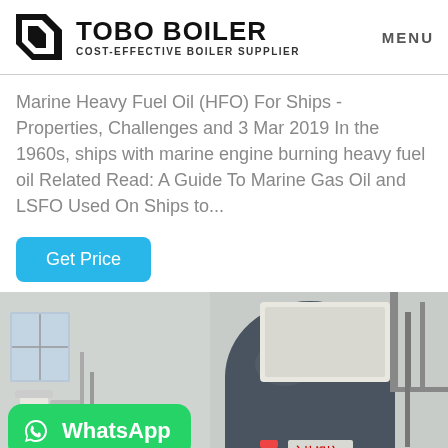TOBO BOILER COST-EFFECTIVE BOILER SUPPLIER | MENU
Marine Heavy Fuel Oil (HFO) For Ships - Properties, Challenges and 3 Mar 2019 In the 1960s, ships with marine engine burning heavy fuel oil Related Read: A Guide To Marine Gas Oil and LSFO Used On Ships to...
Get Price
[Figure (photo): Industrial boiler equipment in a facility, showing a large dark cylindrical boiler with Chinese text label, pipes and industrial equipment visible. WhatsApp contact badge overlaid in lower left corner.]